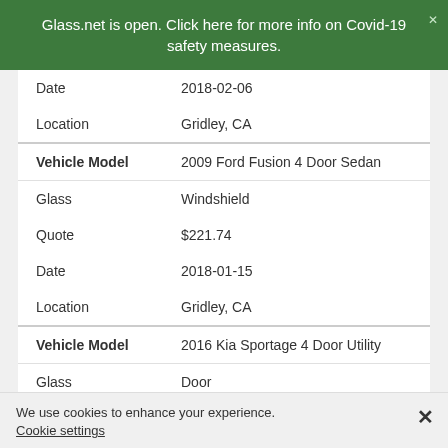Glass.net is open. Click here for more info on Covid-19 safety measures.
| Field | Value |
| --- | --- |
| Date | 2018-02-06 |
| Location | Gridley, CA |
| Vehicle Model | 2009 Ford Fusion 4 Door Sedan |
| Glass | Windshield |
| Quote | $221.74 |
| Date | 2018-01-15 |
| Location | Gridley, CA |
| Vehicle Model | 2016 Kia Sportage 4 Door Utility |
| Glass | Door |
| Quote | $224.86 |
We use cookies to enhance your experience. Cookie settings